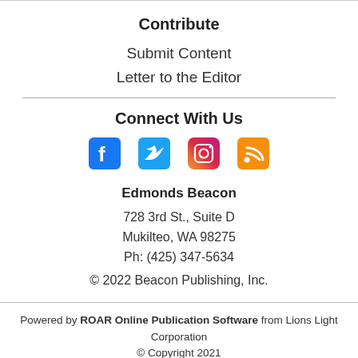Contribute
Submit Content
Letter to the Editor
Connect With Us
[Figure (illustration): Social media icons: Facebook, Twitter, Instagram, RSS feed]
Edmonds Beacon
728 3rd St., Suite D
Mukilteo, WA 98275
Ph: (425) 347-5634
© 2022 Beacon Publishing, Inc.
Powered by ROAR Online Publication Software from Lions Light Corporation
© Copyright 2021